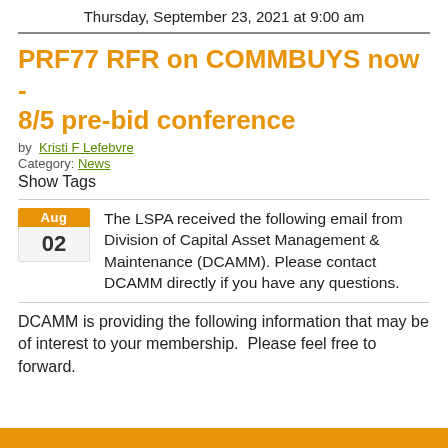Thursday, September 23, 2021 at 9:00 am
PRF77 RFR on COMMBUYS now - 8/5 pre-bid conference
by: Kristi F Lefebvre
Category: News
Show Tags
The LSPA received the following email from Division of Capital Asset Management & Maintenance (DCAMM). Please contact DCAMM directly if you have any questions.
DCAMM is providing the following information that may be of interest to your membership.  Please feel free to forward.